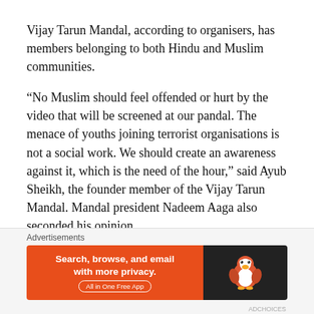Vijay Tarun Mandal, according to organisers, has members belonging to both Hindu and Muslim communities.
“No Muslim should feel offended or hurt by the video that will be screened at our pandal. The menace of youths joining terrorist organisations is not a social work. We should create an awareness against it, which is the need of the hour,” said Ayub Sheikh, the founder member of the Vijay Tarun Mandal. Mandal president Nadeem Aaga also seconded his opinion.
Mandal counsel Salvi said the organisers would remove
Advertisements
[Figure (other): DuckDuckGo advertisement banner: orange section with text 'Search, browse, and email with more privacy.' and 'All in One Free App', dark section with DuckDuckGo duck logo]